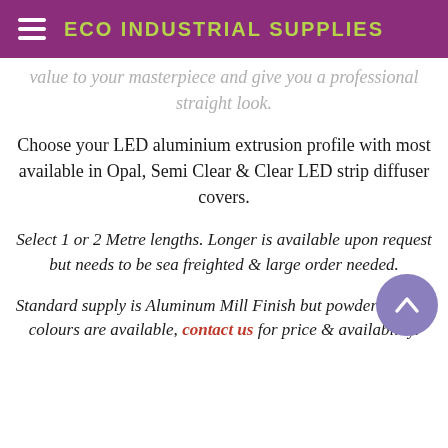ECO INDUSTRIAL SUPPLIES
value to your masterpiece and give you a professional straight look.
Choose your LED aluminium extrusion profile with most available in Opal, Semi Clear & Clear LED strip diffuser covers.
Select 1 or 2 Metre lengths. Longer is available upon request but needs to be sea freighted & large order needed.
Standard supply is Aluminum Mill Finish but powder coating colours are available, contact us for price & availability.